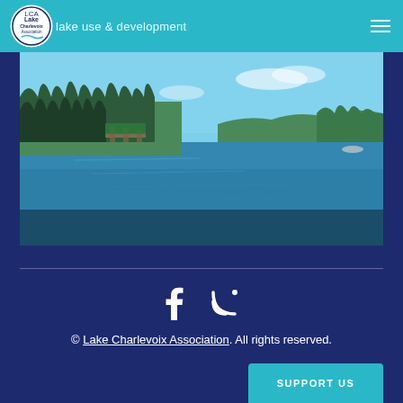lake use & development
[Figure (photo): Photograph of Lake Charlevoix showing calm blue water with a forested shoreline on the left, blue sky with light clouds, and the lake extending into the distance on the right.]
© Lake Charlevoix Association. All rights reserved.
SUPPORT US